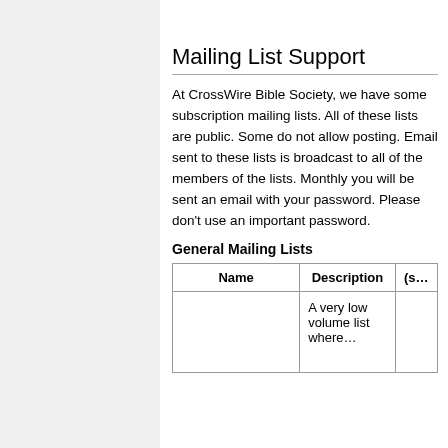Mailing List Support
At CrossWire Bible Society, we have some subscription mailing lists. All of these lists are public. Some do not allow posting. Email sent to these lists is broadcast to all of the members of the lists. Monthly you will be sent an email with your password. Please don't use an important password.
General Mailing Lists
| Name | Description | (s… |
| --- | --- | --- |
|  | A very low volume list where… |  |